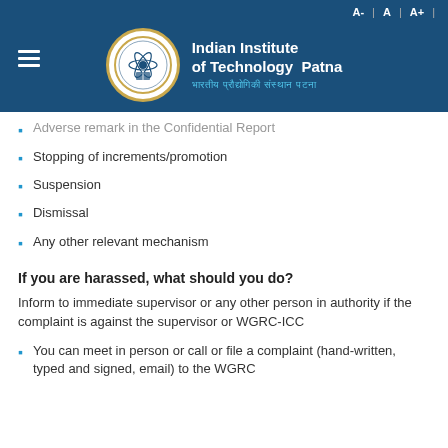Indian Institute of Technology Patna | भारतीय प्रौद्योगिकी संस्थान पटना
Adverse remark in the Confidential Report
Stopping of increments/promotion
Suspension
Dismissal
Any other relevant mechanism
If you are harassed, what should you do?
Inform to immediate supervisor or any other person in authority if the complaint is against the supervisor or WGRC-ICC
You can meet in person or call or file a complaint (hand-written, typed and signed, email) to the WGRC